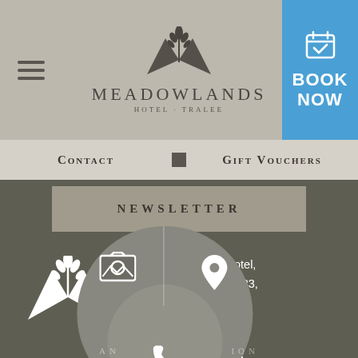[Figure (logo): Meadowlands Hotel Tralee logo with stylized M and plant motif, header area with hamburger menu and blue Book Now button]
Contact
Gift Vouchers
Newsletter
Meadowlands Hotel, Oakpark, V92 DC83, Tralee, Co. Kerry, Ireland
[Figure (infographic): Circular map/navigation widget with photo, location pin, phone, and booking icons at bottom of page]